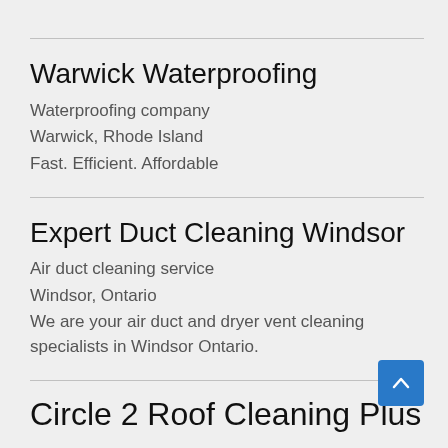Warwick Waterproofing
Waterproofing company
Warwick, Rhode Island
Fast. Efficient. Affordable
Expert Duct Cleaning Windsor
Air duct cleaning service
Windsor, Ontario
We are your air duct and dryer vent cleaning specialists in Windsor Ontario.
Circle 2 Roof Cleaning Plus